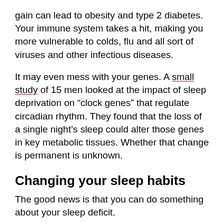gain can lead to obesity and type 2 diabetes. Your immune system takes a hit, making you more vulnerable to colds, flu and all sort of viruses and other infectious diseases.
It may even mess with your genes. A small study of 15 men looked at the impact of sleep deprivation on “clock genes” that regulate circadian rhythm. They found that the loss of a single night’s sleep could alter those genes in key metabolic tissues. Whether that change is permanent is unknown.
Changing your sleep habits
The good news is that you can do something about your sleep deficit.
You can train your brain to seek better sleep just as you train it to learn and accomplish other skills. S…